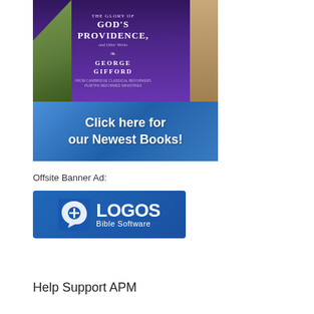[Figure (illustration): Book advertisement banner showing a tablet displaying God's Providence by George Gifford with a purple cover, held by a hand, with a blue section below reading 'Click here for our Newest Books!']
Offsite Banner Ad:
[Figure (logo): Logos Bible Software banner ad with blue background, showing the Logos icon (speech bubble with cross) and text 'LOGOS Bible Software']
Help Support APM